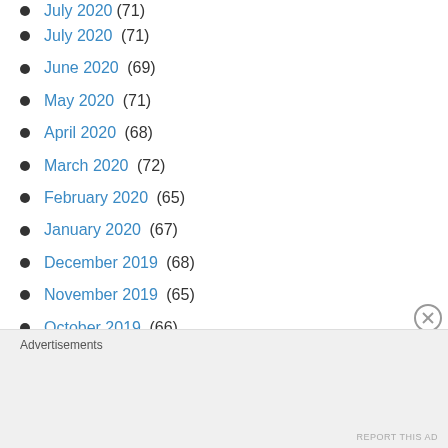July 2020 (71)
June 2020 (69)
May 2020 (71)
April 2020 (68)
March 2020 (72)
February 2020 (65)
January 2020 (67)
December 2019 (68)
November 2019 (65)
October 2019 (66)
September 2019 (66)
August 2019 (67)
July 2019 (66)
Advertisements